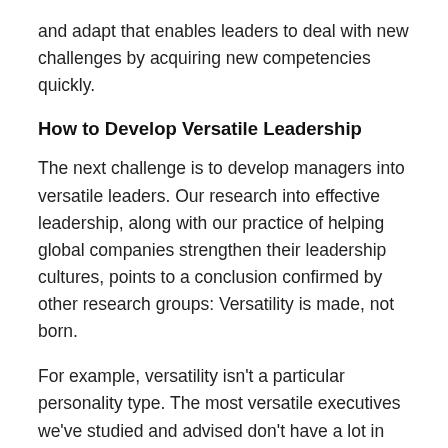and adapt that enables leaders to deal with new challenges by acquiring new competencies quickly.
How to Develop Versatile Leadership
The next challenge is to develop managers into versatile leaders. Our research into effective leadership, along with our practice of helping global companies strengthen their leadership cultures, points to a conclusion confirmed by other research groups: Versatility is made, not born.
For example, versatility isn’t a particular personality type. The most versatile executives we’ve studied and advised don’t have a lot in common in terms of traits and temperaments. But what they do share is a background of work experiences characterized by variety, intensity, and adversity, as well as a willingness to step outside of their comfort zones.